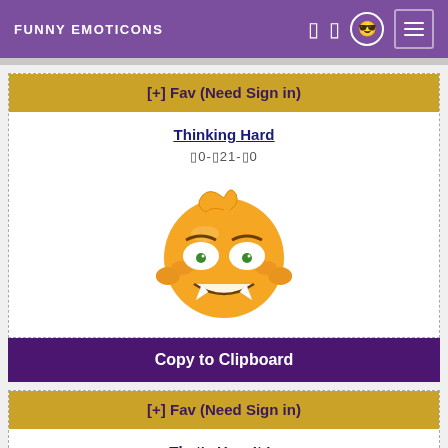FUNNY EMOTICONS
[+] Fav (Need Sign in)
Thinking Hard
🔲0-🔲21-🔲0
[Figure (illustration): Yellow smiley face emoticon with confused/thinking hard expression, wide eyes, fanged teeth, and squiggly top hair piece]
Copy to Clipboard
[+] Fav (Need Sign in)
That's How It Is
🔲0-🔲4-🔲3